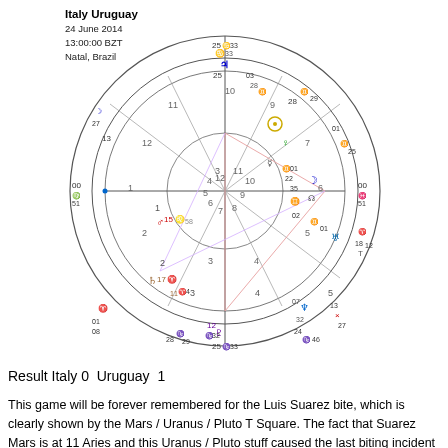[Figure (other): Astrological natal chart for Italy vs Uruguay match on 24 June 2014, 13:00:00 BZT, Natal, Brazil. Shows a circular zodiac wheel with house divisions, planetary positions, and aspect lines including a highlighted T-Square pattern.]
Italy Uruguay
24 June 2014
13:00:00 BZT
Natal, Brazil
Result Italy 0  Uruguay  1
This game will be forever remembered for the Luis Suarez bite, which is clearly shown by the Mars / Uranus / Pluto T Square. The fact that Suarez Mars is at 11 Aries and this Uranus / Pluto stuff caused the last biting incident in April 2013, shows the recurrence and the shock that was felt around the world.